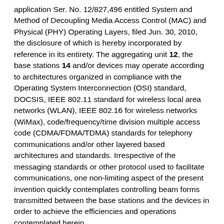application Ser. No. 12/827,496 entitled System and Method of Decoupling Media Access Control (MAC) and Physical (PHY) Operating Layers, filed Jun. 30, 2010, the disclosure of which is hereby incorporated by reference in its entirety. The aggregating unit 12, the base stations 14 and/or devices may operate according to architectures organized in compliance with the Operating System Interconnection (OSI) standard, DOCSIS, IEEE 802.11 standard for wireless local area networks (WLAN), IEEE 802.16 for wireless networks (WiMax), code/frequency/time division multiple access code (CDMA/FDMA/TDMA) standards for telephony communications and/or other layered based architectures and standards. Irrespective of the messaging standards or other protocol used to facilitate communications, one non-limiting aspect of the present invention quickly contemplates controlling beam forms transmitted between the base stations and the devices in order to achieve the efficiencies and operations contemplated herein.
The base stations are shown to be arranged into a wireless, celled structure where a coverage area is formed as function of wireless signaling emitted from each base